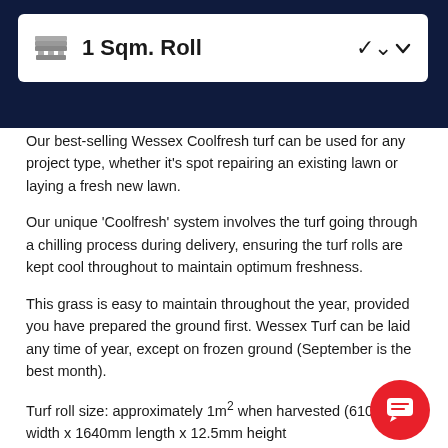1 Sqm. Roll
Our best-selling Wessex Coolfresh turf can be used for any project type, whether it's spot repairing an existing lawn or laying a fresh new lawn.
Our unique 'Coolfresh' system involves the turf going through a chilling process during delivery, ensuring the turf rolls are kept cool throughout to maintain optimum freshness.
This grass is easy to maintain throughout the year, provided you have prepared the ground first. Wessex Turf can be laid any time of year, except on frozen ground (September is the best month).
Turf roll size: approximately 1m² when harvested (610mm width x 1640mm length x 12.5mm height
Excellent value for money
High Quality, Award-Winning Turf
Light weight, easy to handle and lay